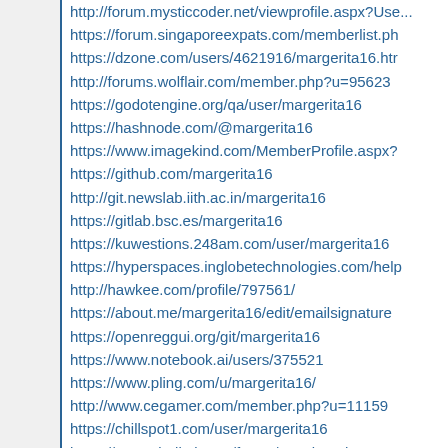http://forum.mysticcoder.net/viewprofile.aspx?User...
https://forum.singaporeexpats.com/memberlist.ph...
https://dzone.com/users/4621916/margerita16.htm...
http://forums.wolflair.com/member.php?u=95623...
https://godotengine.org/qa/user/margerita16
https://hashnode.com/@margerita16
https://www.imagekind.com/MemberProfile.aspx?...
https://github.com/margerita16
http://git.newslab.iith.ac.in/margerita16
https://gitlab.bsc.es/margerita16
https://kuwestions.248am.com/user/margerita16
https://hyperspaces.inglobetechnologies.com/help...
http://hawkee.com/profile/797561/
https://about.me/margerita16/edit/emailsignature...
https://openreggui.org/git/margerita16
https://www.notebook.ai/users/375521
https://www.pling.com/u/margerita16/
http://www.cegamer.com/member.php?u=11159...
https://chillspot1.com/user/margerita16
https://www.vbulletin.org/forum/member.php?u=5...
http://www.afro-ninja.com/account/206304
https://www.avenza.com/forums/users/margerita4...
http://failheap-challenge.com/member.php?13258...
https://www.equestrianbookfair.com/UserProfile/ta...
http://forums.qrecall.com/user/editDone/221037.p...
https://www.giforu.net/avnport/forum/user/ma...